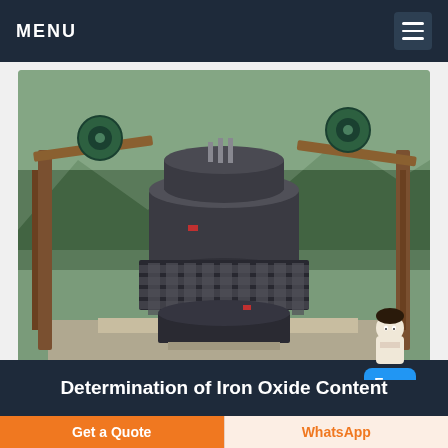MENU
[Figure (photo): Industrial cone crusher machine mounted on a concrete base in an outdoor setting, with green trees and mountains in the background. The machine has a large cylindrical dark gray body with spring assemblies and is supported by a steel frame structure.]
Determination of Iron Oxide Content
Get a Quote
WhatsApp